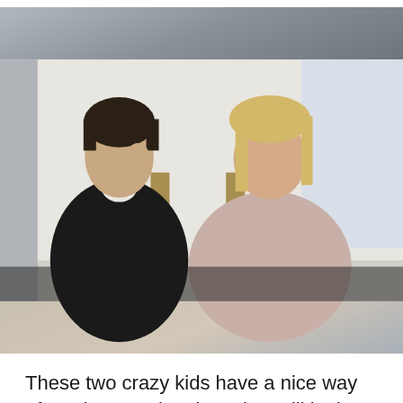[Figure (photo): A young man with dark hair wearing a black zip-up hoodie over a white t-shirt, sitting next to a young woman with blonde hair wearing a light pink/beige sweater. Both are seated and appear to be posing or being interviewed. The background is light/white.]
These two crazy kids have a nice way of staying mostly private but still letting everyone know that they're in love and are fun and stuff. Emma made an appearance when Andrew hosted SNL and they did a goofy kissing skit together. They're known for photobombing and using their paparazzi shots to promote good